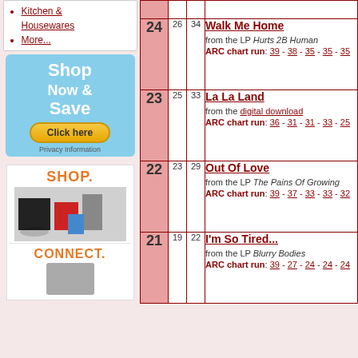Kitchen & Housewares
More...
[Figure (infographic): Blue banner: Shop Now & Save with Click here button and Privacy Information text]
[Figure (infographic): SHOP. with product images (electronics, bags, shoes). CONNECT. with device below.]
| Rank | Prev | Peak | Song Info |
| --- | --- | --- | --- |
| 24 | 26 | 34 | Walk Me Home
from the LP Hurts 2B Human
ARC chart run: 39 - 38 - 35 - 35 - 35 |
| 23 | 25 | 33 | La La Land
from the digital download
ARC chart run: 36 - 31 - 31 - 33 - 25 |
| 22 | 23 | 29 | Out Of Love
from the LP The Pains Of Growing
ARC chart run: 39 - 37 - 33 - 33 - 32 |
| 21 | 19 | 22 | I'm So Tired...
from the LP Blurry Bodies
ARC chart run: 39 - 27 - 24 - 24 - 24 |